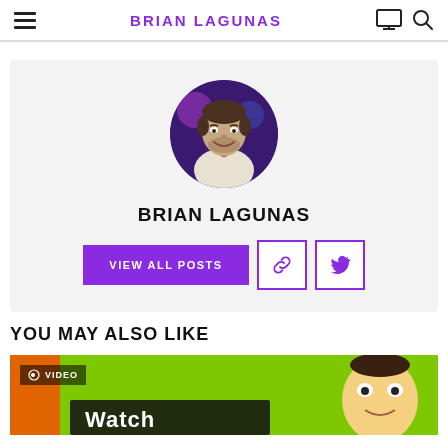BRIAN LAGUNAS
[Figure (photo): Circular avatar photo of Brian Lagunas, a man smiling, with dark background]
BRIAN LAGUNAS
VIEW ALL POSTS
YOU MAY ALSO LIKE
[Figure (screenshot): Video thumbnail with bright green background, VIDEO badge, and partial text 'Watch']